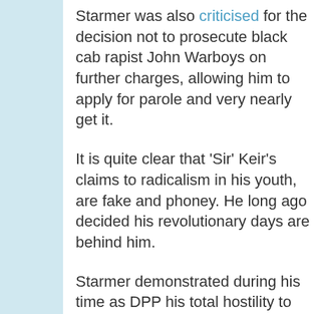Starmer was also criticised for the decision not to prosecute black cab rapist John Warboys on further charges, allowing him to apply for parole and very nearly get it.
It is quite clear that 'Sir' Keir's claims to radicalism in his youth, are fake and phoney. He long ago decided his revolutionary days are behind him.
Starmer demonstrated during his time as DPP his total hostility to civil liberties. The decision over Ian Tomlinson was truly shocking. A bent Home Office pathologist who was contradicted by other pathologists and who was the subject of a formal complaint by his own professional association was used as the excuse to allow a killer Policeman to go free.
This decision, on its own, makes Starm...